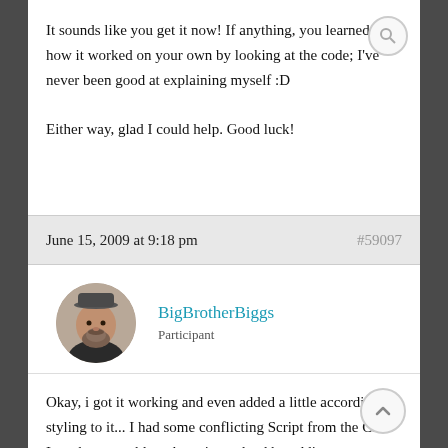It sounds like you get it now! If anything, you learned how it worked on your own by looking at the code; I've never been good at explaining myself :D

Either way, glad I could help. Good luck!
June 15, 2009 at 9:18 pm   #59097
BigBrotherBiggs
Participant
Okay, i got it working and even added a little accordion styling to it... I had some conflicting Script from the CMS I use but was able to have it resolved by adding...
Code: